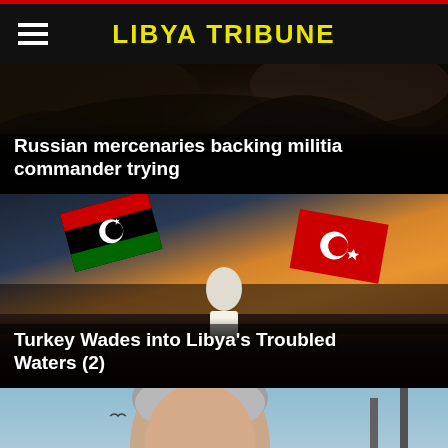LIBYA TRIBUNE
[Figure (photo): Dark rocky/cave background image for article about Russian mercenaries]
Russian mercenaries backing militia commander trying
[Figure (photo): Man waving Libyan and Turkish flags in a crowd at sunset]
Turkey Wades into Libya's Troubled Waters (2)
[Figure (photo): Close-up portrait of a man with grey hair and glasses against a light blue sky]